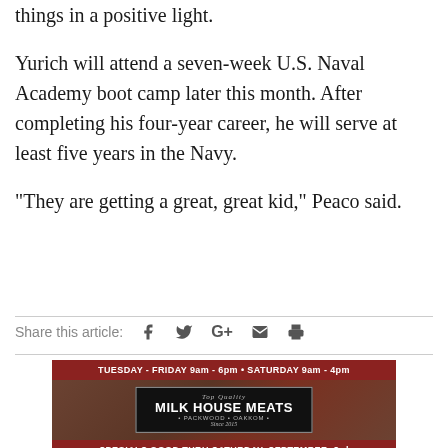things in a positive light.
Yurich will attend a seven-week U.S. Naval Academy boot camp later this month. After completing his four-year career, he will serve at least five years in the Navy.
“They are getting a great, great kid,” Peaco said.
Share this article:
[Figure (illustration): Advertisement for Milk House Meats butcher shop. Dark red banner at top reads 'TUESDAY - FRIDAY 9am - 6pm • SATURDAY 9am - 4pm'. Center black box with white border shows 'Top Quality MILK HOUSE MEATS • PACKWOOD • OAKKOM • Since 2015'. Background shows raw meat cuts. Bottom dark red bar reads 'SPECIALS GOOD THRU SATURDAY, SEPTEMBER, 3rd OR WHILE SUPPLIES LAST'.]